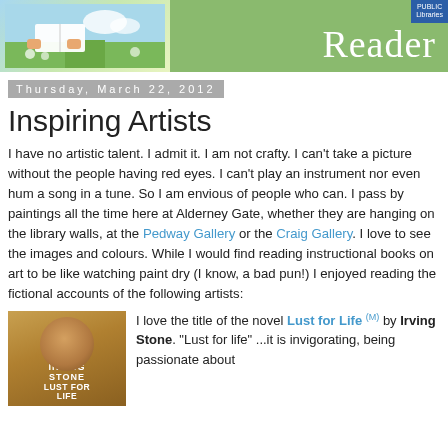[Figure (illustration): Header banner for 'The Reader' blog/newsletter from the Public Library. Left side shows an illustrated open book with hands and nature background. Right side has green background with 'The Reader' text and a blue library badge.]
Thursday, March 22, 2012
Inspiring Artists
I have no artistic talent. I admit it. I am not crafty. I can't take a picture without the people having red eyes. I can't play an instrument nor even hum a song in a tune. So I am envious of people who can. I pass by paintings all the time here at Alderney Gate, whether they are hanging on the library walls, at the Pedway Gallery or the Craig Gallery. I love to see the images and colours. While I would find reading instructional books on art to be like watching paint dry (I know, a bad pun!) I enjoyed reading the fictional accounts of the following artists:
[Figure (photo): Book cover of 'Lust for Life' by Irving Stone, showing a portrait face on a golden-brown background.]
I love the title of the novel Lust for Life (M) by Irving Stone. "Lust for life" ...it is invigorating, being passionate about